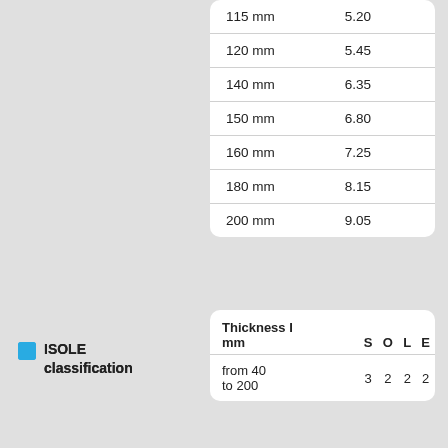| Thickness I mm |  |
| --- | --- |
| 115 mm | 5.20 |
| 120 mm | 5.45 |
| 140 mm | 6.35 |
| 150 mm | 6.80 |
| 160 mm | 7.25 |
| 180 mm | 8.15 |
| 200 mm | 9.05 |
ISOLE classification
| Thickness I mm | S | O | L | E |
| --- | --- | --- | --- | --- |
| from 40 to 200 | 3 | 2 | 2 | 2 | 1 |